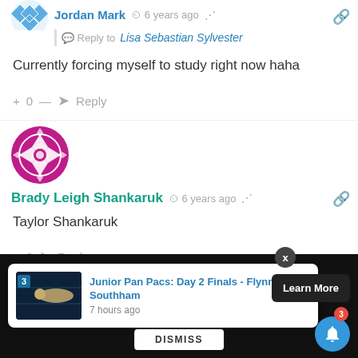[Figure (illustration): Avatar thumbnail for Jordan Mark — blue and white diamond pattern circle]
Jordan Mark  6 years ago
Reply to Lisa Sebastian Sylvester
Currently forcing myself to study right now haha
+ 0 —  Reply
[Figure (illustration): Avatar for Brady Leigh Shankaruk — magenta/pink circle with decorative cross/star pattern]
Brady Leigh Shankaruk  6 years ago
Taylor Shankaruk
+ 0  Reply
Junior Pan Pacs: Day 2 Finals - Flynn Southham
7 hours ago
Learn More
DISMISS